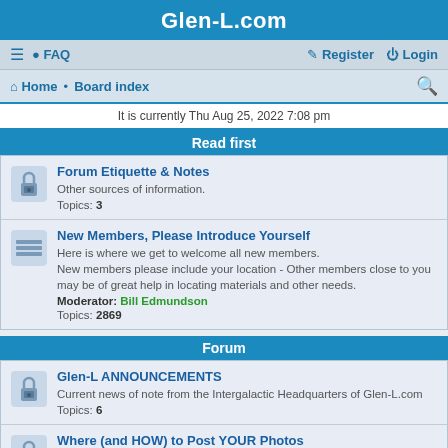Glen-L.com
≡  FAQ   Register  Login
Home · Board index
It is currently Thu Aug 25, 2022 7:08 pm
Read first
Forum Etiquette & Notes
Other sources of information.
Topics: 3
New Members, Please Introduce Yourself
Here is where we get to welcome all new members.
New members please include your location - Other members close to you may be of great help in locating materials and other needs.
Moderator: Bill Edmundson
Topics: 2869
Forum
Glen-L ANNOUNCEMENTS
Current news of note from the Intergalactic Headquarters of Glen-L.com
Topics: 6
Where (and HOW) to Post YOUR Photos
All about the Special Area we've created so everyone can easily find photos of your boat/build.
Topics: 1